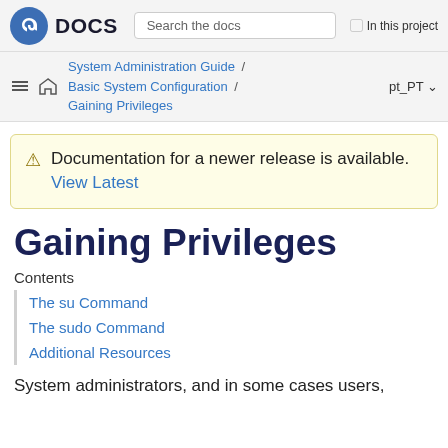Fedora DOCS | Search the docs | In this project
System Administration Guide / Basic System Configuration / Gaining Privileges | pt_PT
Documentation for a newer release is available. View Latest
Gaining Privileges
Contents
The su Command
The sudo Command
Additional Resources
System administrators, and in some cases users,